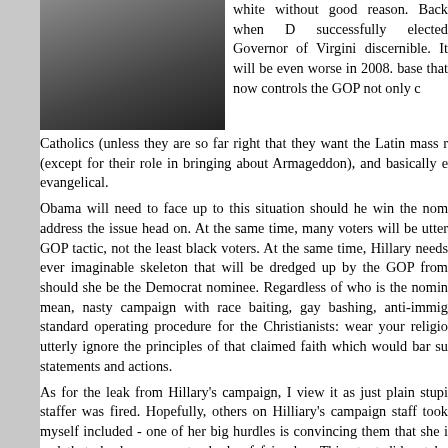[Figure (photo): Black and white photo of a man in a suit with arms crossed, standing in front of a building]
white without good reason. Back when D successfully elected Governor of Virgini discernible. It will be even worse in 2008. base that now controls the GOP not only c Catholics (unless they are so far right that they want the Latin mass r (except for their role in bringing about Armageddon), and basically e evangelical.
Obama will need to face up to this situation should he win the nom address the issue head on. At the same time, many voters will be utter GOP tactic, not the least black voters. At the same time, Hillary needs ever imaginable skeleton that will be dredged up by the GOP from should she be the Democrat nominee. Regardless of who is the nomin mean, nasty campaign with race baiting, gay bashing, anti-immig standard operating procedure for the Christianists: wear your religio utterly ignore the principles of that claimed faith which would bar su statements and actions.
As for the leak from Hillary's campaign, I view it as just plain stupi staffer was fired. Hopefully, others on Hilliary's campaign staff took myself included - one of her big hurdles is convincing them that she i and that she has some standards of fair play. This stunt did not he highlights from a New York Times article that looks at t (http://www.nytimes.com/2007/12/16/us/politics/16obama.html?pagewa
An adviser to Mrs. Clinton's campaign suggested this week that Mr. Obama's admis could weaken his candidacy should he win the general election. The Clinton campa Clinton apologized and the adviser resigned, but she and her aides have kep